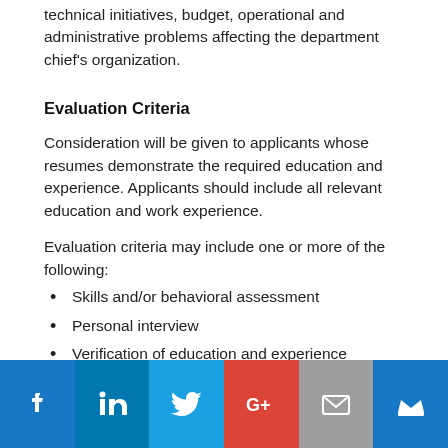technical initiatives, budget, operational and administrative problems affecting the department chief's organization.
Evaluation Criteria
Consideration will be given to applicants whose resumes demonstrate the required education and experience. Applicants should include all relevant education and work experience.
Evaluation criteria may include one or more of the following:
Skills and/or behavioral assessment
Personal interview
Verification of education and experience (including certifications and licenses)
Criminal Background Check (a criminal conviction is not
[Figure (infographic): Social media sharing bar with icons: Facebook (blue), LinkedIn (dark blue), Twitter (light blue), Google+ (red), Email/envelope (gray), Crown/king (blue)]